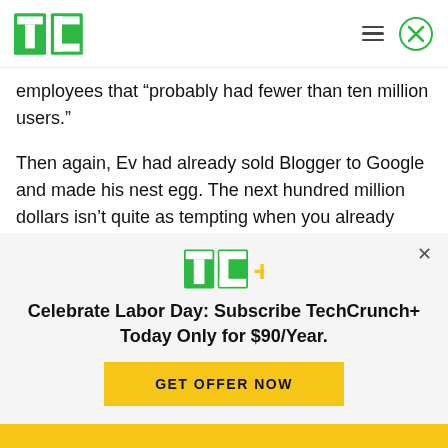TechCrunch
employees that “probably had fewer than ten million users.”
Then again, Ev had already sold Blogger to Google and made his nest egg. The next hundred million dollars isn’t quite as tempting when you already have a couple mill in the bank.
Celebrate Labor Day: Subscribe TechCrunch+ Today Only for $90/Year.
GET OFFER NOW